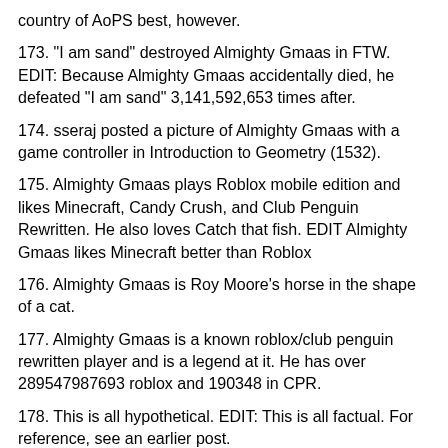country of AoPS best, however.
173. "I am sand" destroyed Almighty Gmaas in FTW. EDIT: Because Almighty Gmaas accidentally died, he defeated "I am sand" 3,141,592,653 times after.
174. sseraj posted a picture of Almighty Gmaas with a game controller in Introduction to Geometry (1532).
175. Almighty Gmaas plays Roblox mobile edition and likes Minecraft, Candy Crush, and Club Penguin Rewritten. He also loves Catch that fish. EDIT Almighty Gmaas likes Minecraft better than Roblox
176. Almighty Gmaas is Roy Moore's horse in the shape of a cat.
177. Almighty Gmaas is a known roblox/club penguin rewritten player and is a legend at it. He has over 289547987693 roblox and 190348 in CPR.
178. This is all hypothetical. EDIT: This is all factual. For reference, see an earlier post.
179. Almighty Gmaas's real name is Princess. He has a